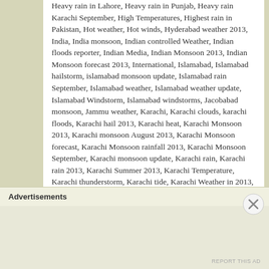Heavy rain in Lahore, Heavy rain in Punjab, Heavy rain Karachi September, High Temperatures, Highest rain in Pakistan, Hot weather, Hot winds, Hyderabad weather 2013, India, India monsoon, Indian controlled Weather, Indian floods reporter, Indian Media, Indian Monsoon 2013, Indian Monsoon forecast 2013, International, Islamabad, Islamabad hailstorm, islamabad monsoon update, Islamabad rain September, Islamabad weather, Islamabad weather update, Islamabad Windstorm, Islamabad windstorms, Jacobabad monsoon, Jammu weather, Karachi, Karachi clouds, karachi floods, Karachi hail 2013, Karachi heat, Karachi Monsoon 2013, Karachi monsoon August 2013, Karachi Monsoon forecast, Karachi Monsoon rainfall 2013, Karachi Monsoon September, Karachi monsoon update, Karachi rain, Karachi rain 2013, Karachi Summer 2013, Karachi Temperature, Karachi thunderstorm, Karachi tide, Karachi Weather in 2013, Karachi Weather in September, Karachi weather latest, Karachi weather update, Khyber Pakhtunkhwa floods, La-Nina 2013, La-Nina India, La-Nina Pakistan, Lahore, Lahore Dust storm 2013, Lahore dust storms, Lahore Monsoon 2013, Lahore Weather 2013, Lahore weather update, Larkana rain August, Monsoon
Advertisements